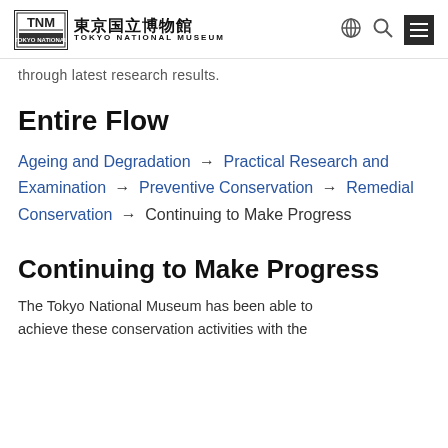東京国立博物館 TOKYO NATIONAL MUSEUM
through latest research results.
Entire Flow
Ageing and Degradation → Practical Research and Examination → Preventive Conservation → Remedial Conservation → Continuing to Make Progress
Continuing to Make Progress
The Tokyo National Museum has been able to achieve these conservation activities with the